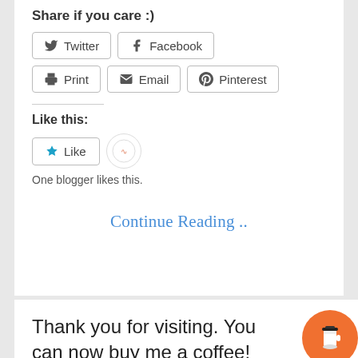Share if you care :)
Twitter  Facebook  Print  Email  Pinterest
Like this:
One blogger likes this.
Continue Reading ..
Thank you for visiting. You can now buy me a coffee!